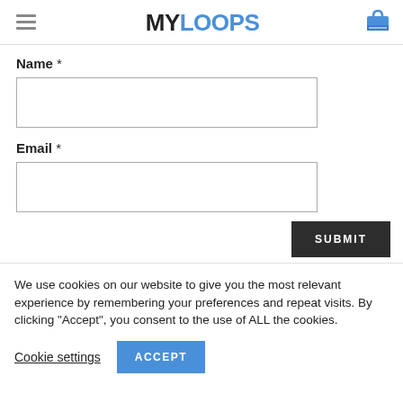MYLOOPS
Name *
Email *
SUBMIT
We use cookies on our website to give you the most relevant experience by remembering your preferences and repeat visits. By clicking “Accept”, you consent to the use of ALL the cookies.
Cookie settings
ACCEPT